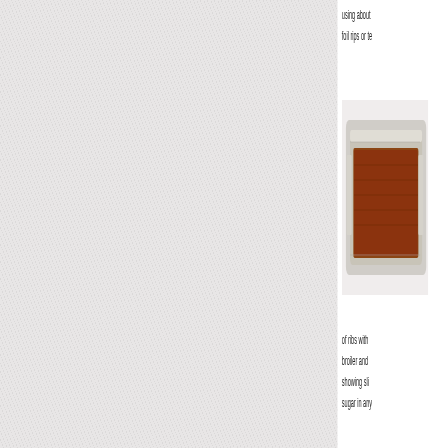using about foil rips or te
[Figure (photo): Foil pan containing seasoned ribs, viewed from above on a white surface]
of ribs with broiler and showing sli sugar in any
[Figure (photo): Rack of ribs standing upright, showing the bone side, with a warm background]